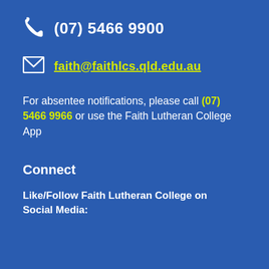(07) 5466 9900
faith@faithlcs.qld.edu.au
For absentee notifications, please call (07) 5466 9966 or use the Faith Lutheran College App
Connect
Like/Follow Faith Lutheran College on Social Media: